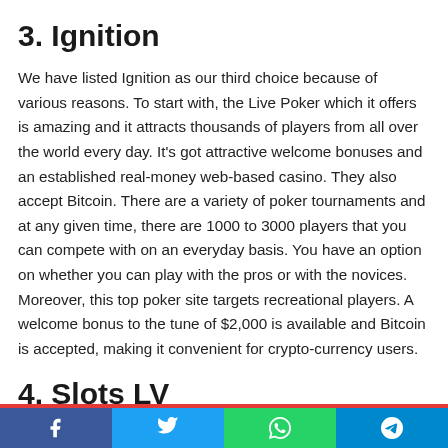3. Ignition
We have listed Ignition as our third choice because of various reasons. To start with, the Live Poker which it offers is amazing and it attracts thousands of players from all over the world every day. It's got attractive welcome bonuses and an established real-money web-based casino. They also accept Bitcoin. There are a variety of poker tournaments and at any given time, there are 1000 to 3000 players that you can compete with on an everyday basis. You have an option on whether you can play with the pros or with the novices. Moreover, this top poker site targets recreational players. A welcome bonus to the tune of $2,000 is available and Bitcoin is accepted, making it convenient for crypto-currency users.
4. Slots LV